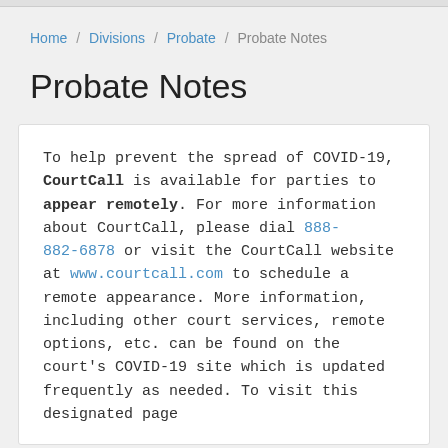Home / Divisions / Probate / Probate Notes
Probate Notes
To help prevent the spread of COVID-19, CourtCall is available for parties to appear remotely. For more information about CourtCall, please dial 888-882-6878 or visit the CourtCall website at www.courtcall.com to schedule a remote appearance. More information, including other court services, remote options, etc. can be found on the court's COVID-19 site which is updated frequently as needed. To visit this designated page